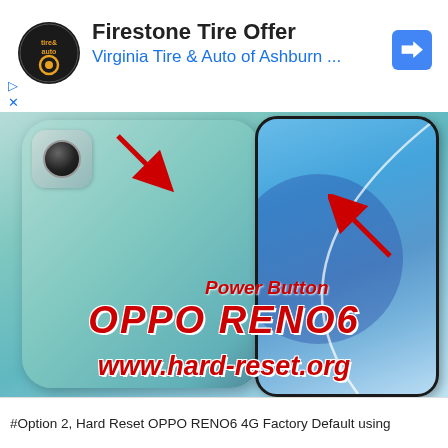[Figure (screenshot): Advertisement banner for Firestone Tire Offer from Virginia Tire & Auto of Ashburn with logo and navigation icon]
[Figure (photo): OPPO RENO6 smartphone shown from back and front, with red arrows pointing to power button and top of device. Text overlay shows 'Power Button', 'OPPO RENO6', and 'www.hard-reset.org']
#Option 2, Hard Reset OPPO RENO6 4G Factory Default using